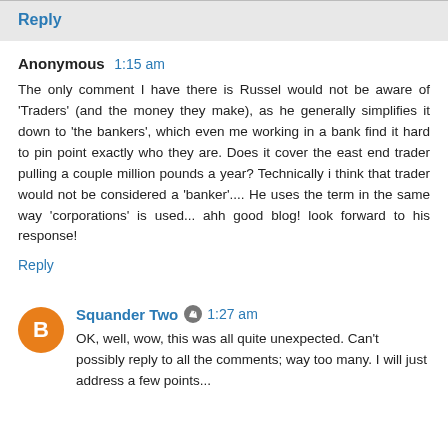Reply
Anonymous 1:15 am
The only comment I have there is Russel would not be aware of 'Traders' (and the money they make), as he generally simplifies it down to 'the bankers', which even me working in a bank find it hard to pin point exactly who they are. Does it cover the east end trader pulling a couple million pounds a year? Technically i think that trader would not be considered a 'banker'.... He uses the term in the same way 'corporations' is used... ahh good blog! look forward to his response!
Reply
Squander Two 1:27 am
OK, well, wow, this was all quite unexpected. Can't possibly reply to all the comments; way too many. I will just address a few points...